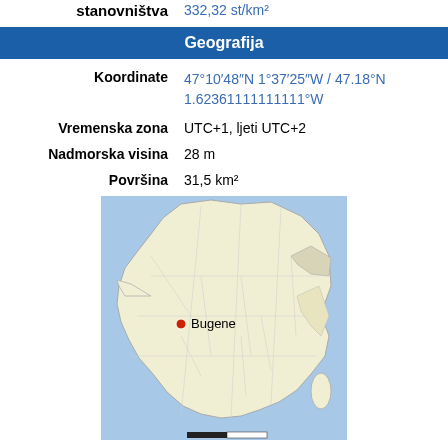| stanovništva | 332,32 st/km² |
| Geografija |  |
| Koordinate | 47°10′48″N 1°37′25″W / 47.18°N 1.62361111111111°W |
| Vremenska zona | UTC+1, ljeti UTC+2 |
| Nadmorska visina | 28 m |
| Površina | 31,5 km² |
[Figure (map): Map of France with a red dot marking the location of Bugene]